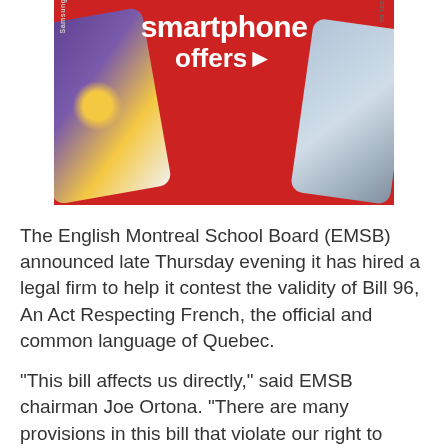[Figure (photo): Advertisement banner for smartphone offers, showing red background with two Samsung phones and white text reading 'smartphone offers▶']
The English Montreal School Board (EMSB) announced late Thursday evening it has hired a legal firm to help it contest the validity of Bill 96, An Act Respecting French, the official and common language of Quebec.
"This bill affects us directly," said EMSB chairman Joe Ortona. "There are many provisions in this bill that violate our right to manage and control as a school board guaranteed by Section 23 of the charter... Any time that section 23 of the charter is threatened,